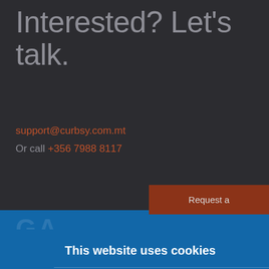Interested? Let’s talk.
support@curbsy.com.mt
Or call +356 7988 8117
Request a
This website uses cookies
We use cookies to personalise content and ads, to provide social media features and to analyse our traffic. We also share information about your use of our site with our social media, advertising and analytics partners who may combine it with other information that you’ve provided to them or that they’ve collected from your use of their services.
Accept & Close